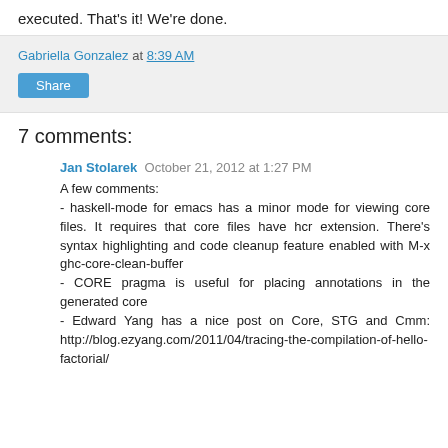executed. That's it! We're done.
Gabriella Gonzalez at 8:39 AM
Share
7 comments:
Jan Stolarek  October 21, 2012 at 1:27 PM
A few comments:
- haskell-mode for emacs has a minor mode for viewing core files. It requires that core files have hcr extension. There's syntax highlighting and code cleanup feature enabled with M-x ghc-core-clean-buffer
- CORE pragma is useful for placing annotations in the generated core
- Edward Yang has a nice post on Core, STG and Cmm: http://blog.ezyang.com/2011/04/tracing-the-compilation-of-hello-factorial/